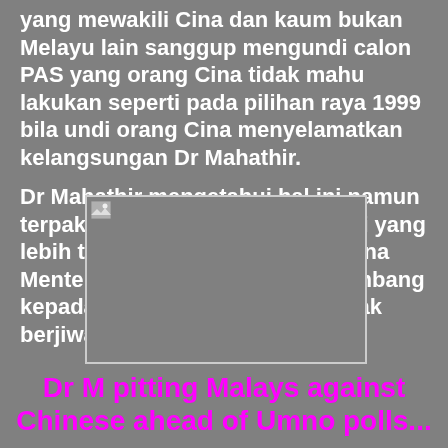yang mewakili Cina dan kaum bukan Melayu lain sanggup mengundi calon PAS yang orang Cina tidak mahu lakukan seperti pada pilihan raya 1999 bila undi orang Cina menyelamatkan kelangsungan Dr Mahathir.
Dr Mahathir mengetahui hal ini namun terpaksa menerima sebuah realiti yang lebih teruk: beliau sebagai Perdana Menteri selama 22 tahun menyumbang kepada parti komponen yang tidak berjiwa. - TMI.
[Figure (photo): Broken/placeholder image rectangle with grey background and small image icon in top-left corner]
Dr M pitting Malays against Chinese ahead of Umno polls...